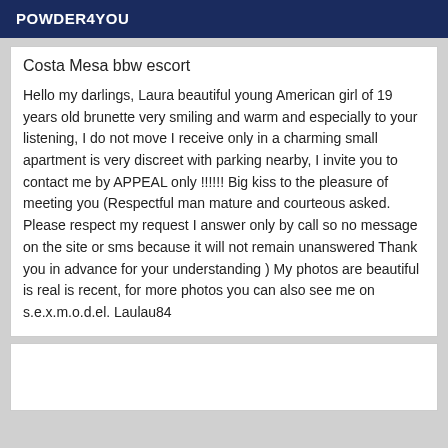POWDER4YOU
Costa Mesa bbw escort
Hello my darlings, Laura beautiful young American girl of 19 years old brunette very smiling and warm and especially to your listening, I do not move I receive only in a charming small apartment is very discreet with parking nearby, I invite you to contact me by APPEAL only !!!!!! Big kiss to the pleasure of meeting you (Respectful man mature and courteous asked. Please respect my request I answer only by call so no message on the site or sms because it will not remain unanswered Thank you in advance for your understanding ) My photos are beautiful is real is recent, for more photos you can also see me on s.e.x.m.o.d.el. Laulau84